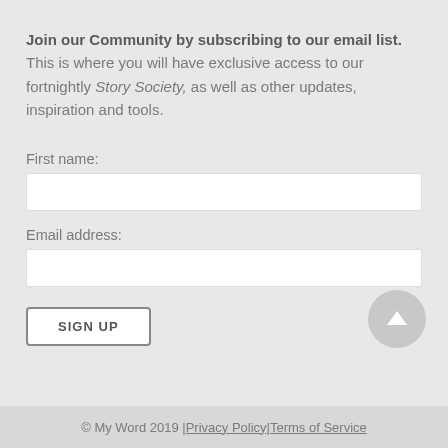Join our Community by subscribing to our email list. This is where you will have exclusive access to our fortnightly Story Society, as well as other updates, inspiration and tools.
First name:
Email address:
SIGN UP
© My Word 2019 | Privacy Policy | Terms of Service